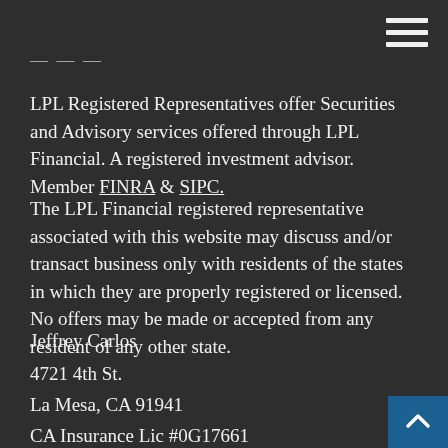— — —
LPL Registered Representatives offer Securities and Advisory services offered through LPL Financial. A registered investment advisor. Member FINRA & SIPC.
The LPL Financial registered representative associated with this website may discuss and/or transact business only with residents of the states in which they are properly registered or licensed. No offers may be made or accepted from any resident of any other state.
Jeffrey Carlos
4721 4th St.
La Mesa, CA 91941
CA Insurance Lic #0G17661